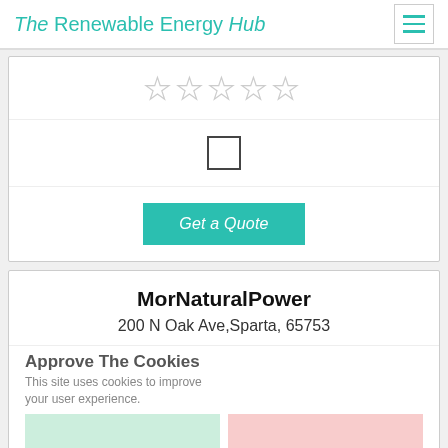The Renewable Energy Hub
[Figure (other): Star rating row with 5 empty/outline stars]
[Figure (other): Checkbox (unchecked square)]
Get a Quote
MorNaturalPower
200 N Oak Ave,Sparta, 65753
Approve The Cookies
This site uses cookies to improve your user experience.
57.82